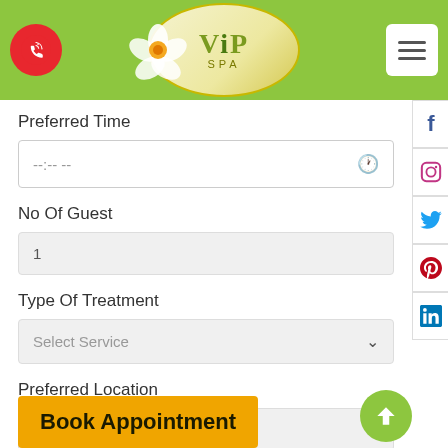[Figure (screenshot): VIP Spa website header with green background, red phone button, VIP Spa logo with flower, and white hamburger menu button]
Preferred Time
--:-- --
No Of Guest
1
Type Of Treatment
Select Service
Preferred Location
select Branch
Book Appointment